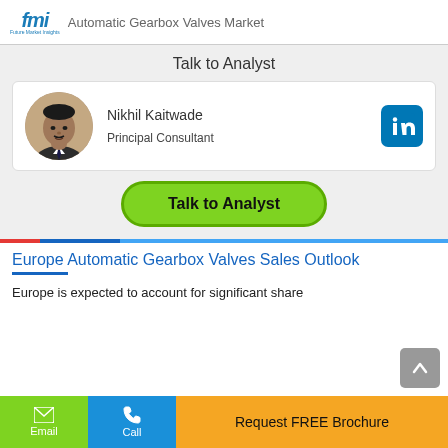fmi  Automatic Gearbox Valves Market
Talk to Analyst
Nikhil Kaitwade
Principal Consultant
Talk to Analyst
Europe Automatic Gearbox Valves Sales Outlook
Europe is expected to account for significant share
Email
Call
Request FREE Brochure